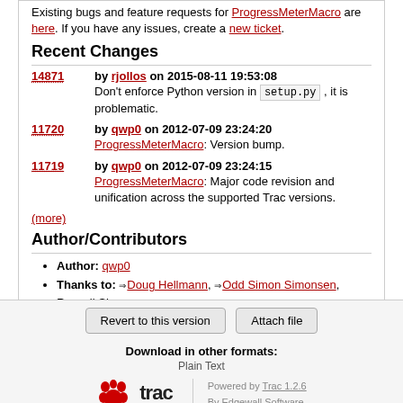Existing bugs and feature requests for ProgressMeterMacro are here. If you have any issues, create a new ticket.
Recent Changes
14871 by rjollos on 2015-08-11 19:53:08
Don't enforce Python version in setup.py , it is problematic.
11720 by qwp0 on 2012-07-09 23:24:20
ProgressMeterMacro: Version bump.
11719 by qwp0 on 2012-07-09 23:24:15
ProgressMeterMacro: Major code revision and unification across the supported Trac versions.
(more)
Author/Contributors
Author: qwp0
Thanks to: Doug Hellmann, Odd Simon Simonsen, Russell Sim
Revert to this version   Attach file
Download in other formats:
Plain Text
Powered by Trac 1.2.6 By Edgewall Software.